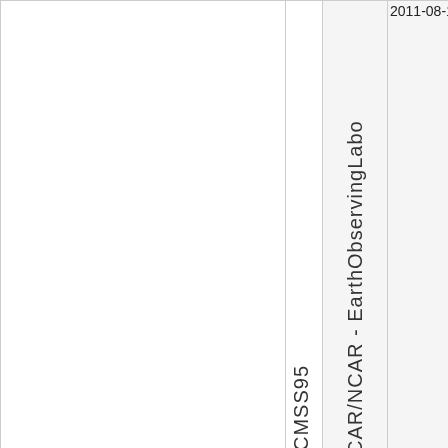|  | CAR/NCAR - EarthObservingLabo | 2011-08-17 |
| --- | --- | --- |